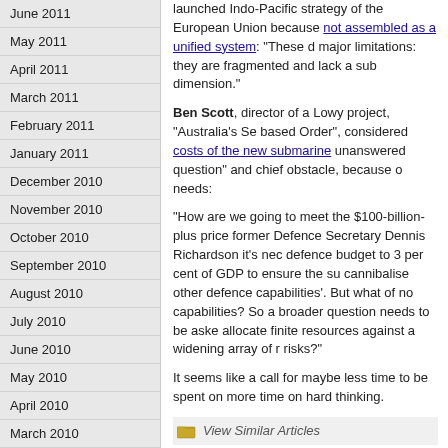June 2011
May 2011
April 2011
March 2011
February 2011
January 2011
December 2010
November 2010
October 2010
September 2010
August 2010
July 2010
June 2010
May 2010
April 2010
March 2010
February 2010
January 2010
December 2009
August 2009
July 2009
launched Indo-Pacific strategy of the European Union because not assembled as a unified system: "These d major limitations: they are fragmented and lack a sub dimension."
Ben Scott, director of a Lowy project, "Australia's Se based Order", considered costs of the new submarine unanswered question" and chief obstacle, because o needs:
"How are we going to meet the $100-billion-plus price former Defence Secretary Dennis Richardson it's nec defence budget to 3 per cent of GDP to ensure the su cannibalise other defence capabilities'. But what of no capabilities? So a broader question needs to be aske allocate finite resources against a widening array of r risks?"
It seems like a call for maybe less time to be spent on more time on hard thinking.
View Similar Articles